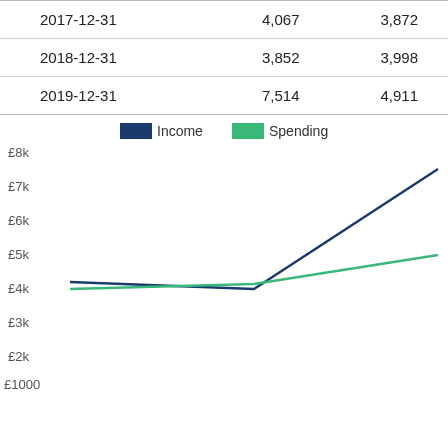| 2017-12-31 | 4,067 | 3,872 |
| 2018-12-31 | 3,852 | 3,998 |
| 2019-12-31 | 7,514 | 4,911 |
[Figure (line-chart): ]